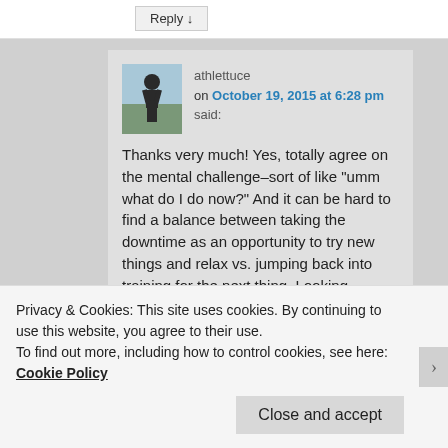Reply ↓
athlettuce on October 19, 2015 at 6:28 pm said:
Thanks very much! Yes, totally agree on the mental challenge–sort of like "umm what do I do now?" And it can be hard to find a balance between taking the downtime as an opportunity to try new things and relax vs. jumping back into training for the next thing. Looking forward and scheduling my future races
Privacy & Cookies: This site uses cookies. By continuing to use this website, you agree to their use.
To find out more, including how to control cookies, see here: Cookie Policy
Close and accept